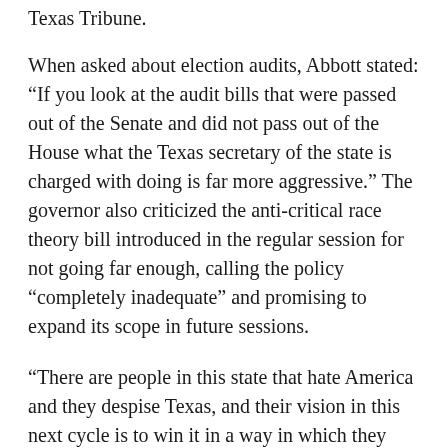Texas Tribune.
When asked about election audits, Abbott stated: “If you look at the audit bills that were passed out of the Senate and did not pass out of the House what the Texas secretary of the state is charged with doing is far more aggressive.” The governor also criticized the anti-critical race theory bill introduced in the regular session for not going far enough, calling the policy “completely inadequate” and promising to expand its scope in future sessions.
“There are people in this state that hate America and they despise Texas, and their vision in this next cycle is to win it in a way in which they redesign Texas and redesign the [U.S.A.] into their own socialistic, Marxist agenda,” Abbott said. “We cannot let that happen” [Chron.com].